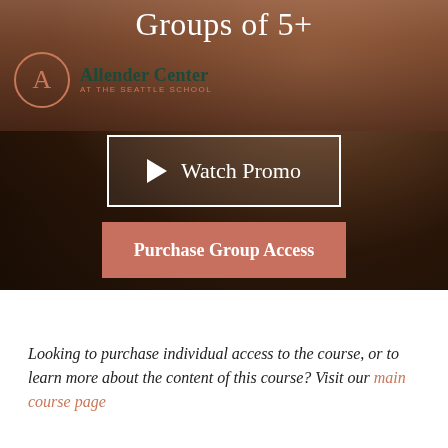Groups of 5+
[Figure (screenshot): Allender Center at The Seattle School logo with circular A emblem in coral/copper color on dark background]
[Figure (other): Watch Promo button with play icon inside white border rectangle]
[Figure (other): Purchase Group Access button in salmon/coral color]
Looking to purchase individual access to the course, or to learn more about the content of this course? Visit our main course page